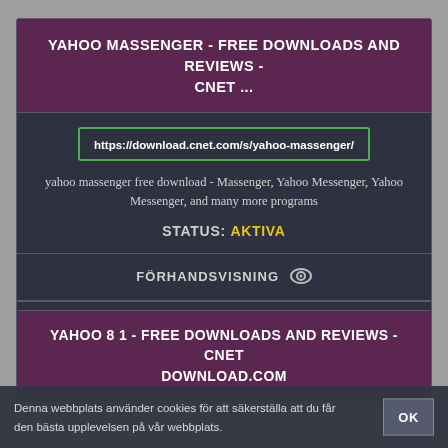YAHOO MASSENGER - FREE DOWNLOADS AND REVIEWS - CNET ...
https://download.cnet.com/s/yahoo-massenger/
yahoo massenger free download - Massenger, Yahoo Messenger, Yahoo Messenger, and many more programs
STATUS: AKTIVA
FÖRHANDSVISNING
LADDA NER
YAHOO 8 1 - FREE DOWNLOADS AND REVIEWS - CNET DOWNLOAD.COM
Denna webbplats använder cookies för att säkerställa att du får den bästa upplevelsen på vår webbplats.